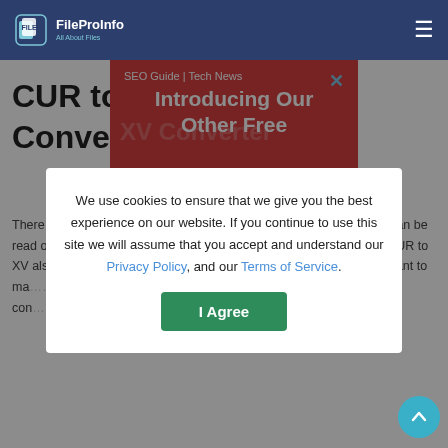FileProInfo — All About Files
[Figure (screenshot): Red promotional banner overlay with text 'SEO Guide | Tech News' and 'Introducing Our Other Free' with a close X button]
CUR to XV Converter
There are many reasons why you might want to convert a CUR file to XV. Perhaps the XV format is more compatible with your software, or it can be read on any device. XV files can be a great choice for use across devices that require image editing. Converting a CUR to XV also makes it easier to share images with others. XV files tend to be more widely supported and, if you want to make your images accessible, it's much easier to do so with an XV file rather than a CUR. Finally, converting your files to XV can help automate and eliminate processes that would otherwise be manual. By using this free
We use cookies to ensure that we give you the best experience on our website. If you continue to use this site we will assume that you accept and understand our Privacy Policy, and our Terms of Service.
I Agree